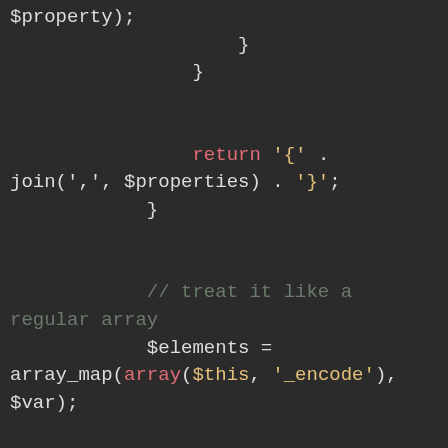[Figure (screenshot): PHP code snippet on dark background showing: closing braces, return statement with string concatenation joining properties, a comment '// treat it like a regular array', array_map call, foreach loop, and beginning of an if statement checking Services_JSON::isError($element)]